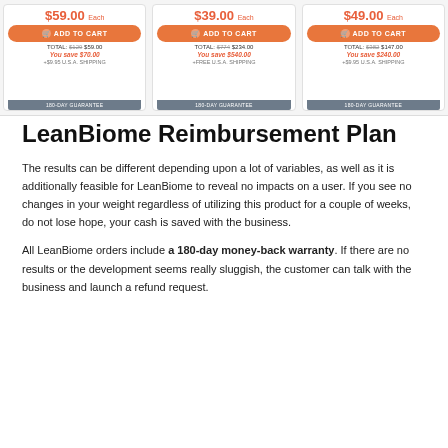[Figure (screenshot): Three product pricing cards showing LeanBiome supplement packages. Left card: $59.00 each, ADD TO CART button, TOTAL: $129 $59.00, You save $70.00, +$9.95 U.S.A. Shipping, 180-DAY GUARANTEE. Middle card: $39.00 each, ADD TO CART button, TOTAL: $774 $234.00, You save $540.00, +FREE U.S.A. SHIPPING, 180-DAY GUARANTEE. Right card: $49.00 each, ADD TO CART button, TOTAL: $382 $147.00, You save $240.00, +$9.95 U.S.A. SHIPPING, 180-DAY GUARANTEE.]
LeanBiome Reimbursement Plan
The results can be different depending upon a lot of variables, as well as it is additionally feasible for LeanBiome to reveal no impacts on a user. If you see no changes in your weight regardless of utilizing this product for a couple of weeks, do not lose hope, your cash is saved with the business.
All LeanBiome orders include a 180-day money-back warranty. If there are no results or the development seems really sluggish, the customer can talk with the business and launch a refund request.